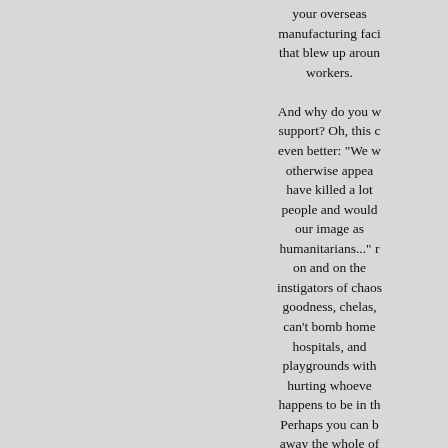your overseas manufacturing facility that blew up around workers.

And why do you want support? Oh, this even better: "We would otherwise appear to have killed a lot of people and would hurt our image as humanitarians..." on and on the instigators of chaos, goodness, chelas, can't bomb homes, hospitals, and playgrounds without hurting whoever happens to be in them. Perhaps you can bomb away the whole of it and without loss of even one pilot. Big deal? "No losses!" your report will read and YOU WILL ACCEPT AS BEING NUMBER ONE ON SUPERB